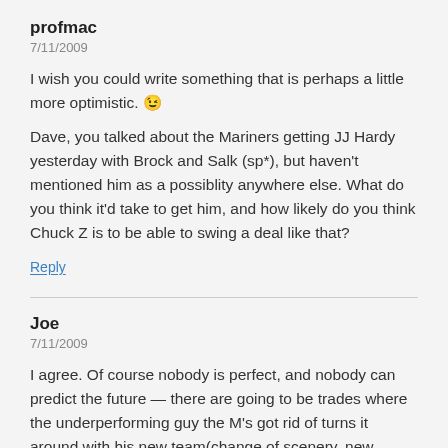profmac
7/11/2009
I wish you could write something that is perhaps a little more optimistic. 😉
Dave, you talked about the Mariners getting JJ Hardy yesterday with Brock and Salk (sp*), but haven't mentioned him as a possiblity anywhere else. What do you think it'd take to get him, and how likely do you think Chuck Z is to be able to swing a deal like that?
Reply
Joe
7/11/2009
I agree. Of course nobody is perfect, and nobody can predict the future — there are going to be trades where the underperforming guy the M's got rid of turns it around with his new team(change of scenery, new coaching, or just maturity / realizing he's running out of rope) or a guy they acquire gets hurt or